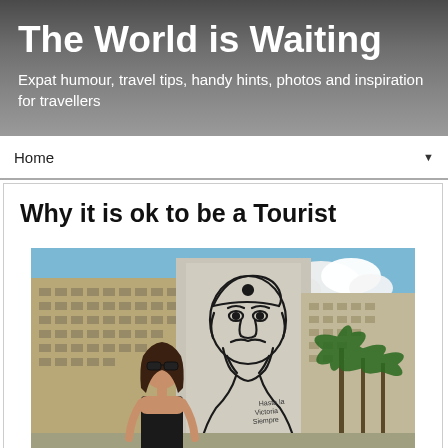The World is Waiting
Expat humour, travel tips, handy hints, photos and inspiration for travellers
Why it is ok to be a Tourist
[Figure (photo): A woman standing in front of the famous Che Guevara iron outline mural on a building in Havana, Cuba (Plaza de la Revolución). Buildings and palm trees visible in background under blue sky.]